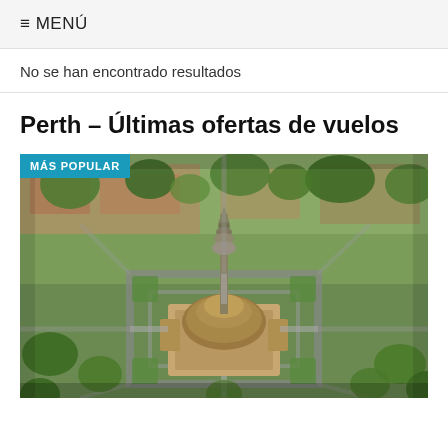≡ MENÚ
No se han encontrado resultados
Perth – Últimas ofertas de vuelos
[Figure (photo): Aerial view of a city with a tall monument/temple structure in the center, surrounded by greenery and buildings. Badge overlay reads 'MÁS POPULAR'.]